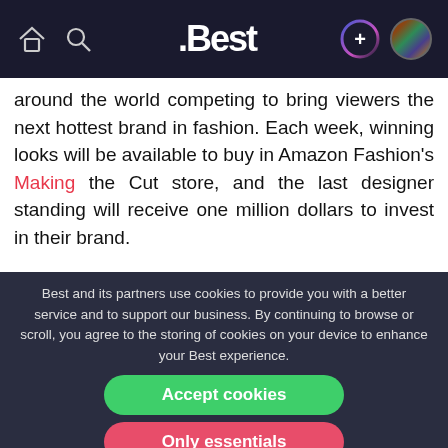.Best navigation bar with home, search, logo, plus, and avatar icons
around the world competing to bring viewers the next hottest brand in fashion. Each week, winning looks will be available to buy in Amazon Fashion's Making the Cut store, and the last designer standing will receive one million dollars to invest in their brand.
» Watch Making the Cut on Prime Video:
Best and its partners use cookies to provide you with a better service and to support our business. By continuing to browse or scroll, you agree to the storing of cookies on your device to enhance your Best experience.
Accept cookies
Only essentials
Learn more about our privacy policy.